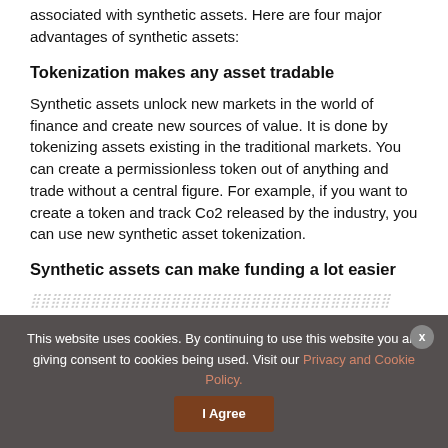associated with synthetic assets. Here are four major advantages of synthetic assets:
Tokenization makes any asset tradable
Synthetic assets unlock new markets in the world of finance and create new sources of value. It is done by tokenizing assets existing in the traditional markets. You can create a permissionless token out of anything and trade without a central figure. For example, if you want to create a token and track Co2 released by the industry, you can use new synthetic asset tokenization.
Synthetic assets can make funding a lot easier
[partially obscured text]
This website uses cookies. By continuing to use this website you are giving consent to cookies being used. Visit our Privacy and Cookie Policy.